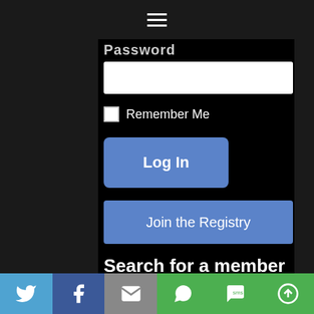[Figure (screenshot): Mobile website login form on dark background. Shows hamburger menu icon at top, Password field label, password input box, Remember Me checkbox, Log In button (blue rounded), Join the Registry button (blue), Search for a member heading, type here search input box, and social sharing bar at bottom with Twitter, Facebook, Email, WhatsApp, SMS, and Share icons.]